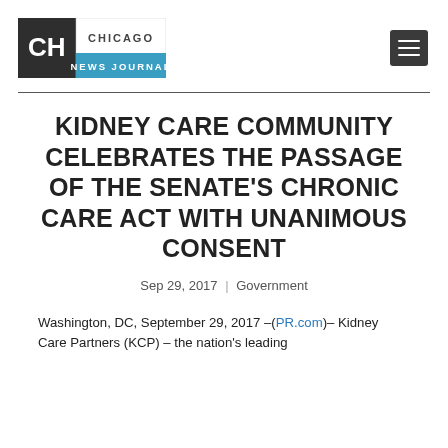Chicago News Journal
KIDNEY CARE COMMUNITY CELEBRATES THE PASSAGE OF THE SENATE'S CHRONIC CARE ACT WITH UNANIMOUS CONSENT
Sep 29, 2017 | Government
Washington, DC, September 29, 2017 –(PR.com)– Kidney Care Partners (KCP) – the nation's leading